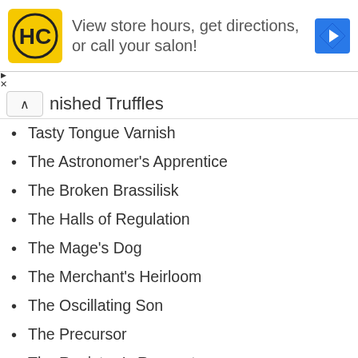[Figure (other): Advertisement banner for HC salon with logo, text 'View store hours, get directions, or call your salon!' and navigation icon]
nished Truffles
Tasty Tongue Varnish
The Astronomer's Apprentice
The Broken Brassilisk
The Halls of Regulation
The Mage's Dog
The Merchant's Heirloom
The Oscillating Son
The Precursor
The Registrar's Request
The Shadow Cleft
Player Housing in Clockwork City